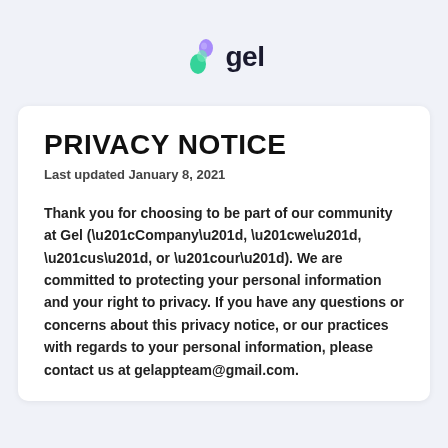[Figure (logo): Gel app logo — a stylized droplet icon in purple/teal gradient followed by bold text 'gel']
PRIVACY NOTICE
Last updated January 8, 2021
Thank you for choosing to be part of our community at Gel (“Company”, “we”, “us”, or “our”). We are committed to protecting your personal information and your right to privacy. If you have any questions or concerns about this privacy notice, or our practices with regards to your personal information, please contact us at gelappteam@gmail.com.